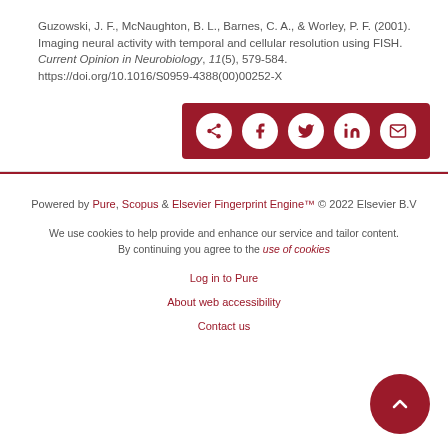Guzowski, J. F., McNaughton, B. L., Barnes, C. A., & Worley, P. F. (2001). Imaging neural activity with temporal and cellular resolution using FISH. Current Opinion in Neurobiology, 11(5), 579-584. https://doi.org/10.1016/S0959-4388(00)00252-X
[Figure (other): Social share bar with icons for share, Facebook, Twitter, LinkedIn, and email on dark red background]
Powered by Pure, Scopus & Elsevier Fingerprint Engine™ © 2022 Elsevier B.V
We use cookies to help provide and enhance our service and tailor content. By continuing you agree to the use of cookies
Log in to Pure
About web accessibility
Contact us